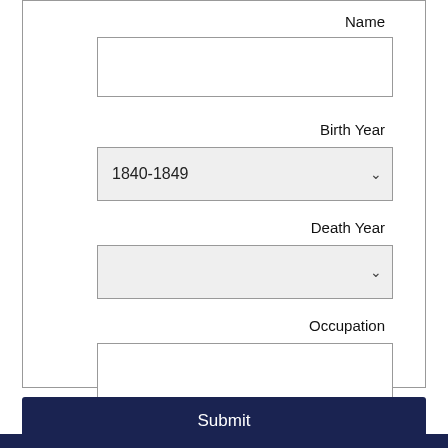Name
Birth Year
1840-1849
Death Year
Occupation
Submit